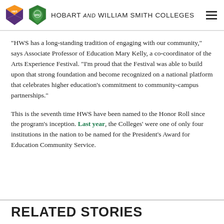HOBART AND WILLIAM SMITH COLLEGES
"HWS has a long-standing tradition of engaging with our community," says Associate Professor of Education Mary Kelly, a co-coordinator of the Arts Experience Festival. "I'm proud that the Festival was able to build upon that strong foundation and become recognized on a national platform that celebrates higher education's commitment to community-campus partnerships."
This is the seventh time HWS have been named to the Honor Roll since the program's inception. Last year, the Colleges' were one of only four institutions in the nation to be named for the President's Award for Education Community Service.
RELATED STORIES